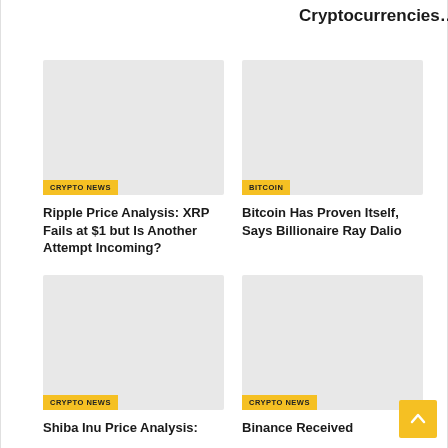Cryptocurrencies…
[Figure (photo): Placeholder image for Ripple Price Analysis article]
CRYPTO NEWS
Ripple Price Analysis: XRP Fails at $1 but Is Another Attempt Incoming?
[Figure (photo): Placeholder image for Bitcoin Has Proven Itself article]
BITCOIN
Bitcoin Has Proven Itself, Says Billionaire Ray Dalio
[Figure (photo): Placeholder image for Shiba Inu Price Analysis article]
CRYPTO NEWS
Shiba Inu Price Analysis:
[Figure (photo): Placeholder image for Binance Received article]
CRYPTO NEWS
Binance Received